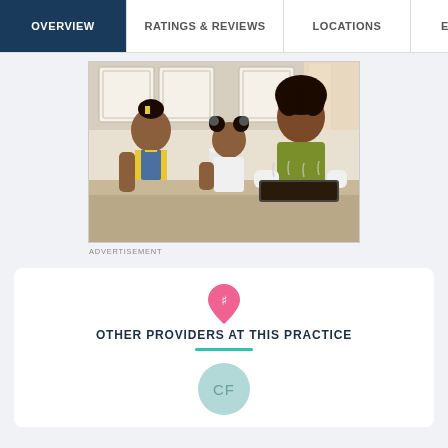OVERVIEW | RATINGS & REVIEWS | LOCATIONS | EX...
[Figure (photo): A woman in a yellow-green blouse holds a hot baking dish with oven mitts at a kitchen counter. Two young girls stand nearby — one in yellow overalls and the other in a white shirt with pom-pom pigtails.]
ADVERTISEMENT
OTHER PROVIDERS AT THIS PRACTICE
[Figure (other): CF initials avatar circle in muted teal color]